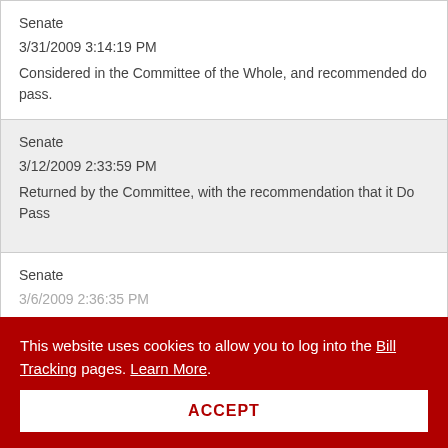| Senate | 3/31/2009 3:14:19 PM | Considered in the Committee of the Whole, and recommended do pass. |
| Senate | 3/12/2009 2:33:59 PM | Returned by the Committee, with the recommendation that it Do Pass |
| Senate | 3/6/2009 2:36:35 PM |  |
This website uses cookies to allow you to log into the Bill Tracking pages. Learn More.
ACCEPT